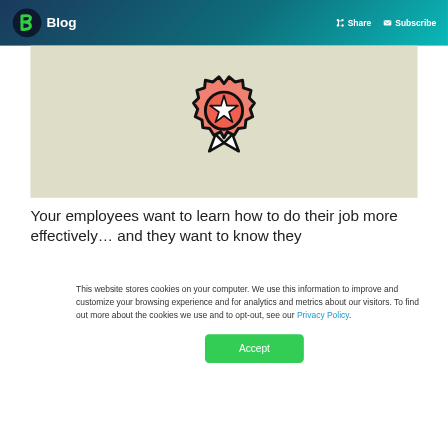Blog  Share  Subscribe
[Figure (illustration): Award ribbon / medal icon with star in center, salmon/coral color with ribbon tails, on beige/khaki background]
Your employees want to learn how to do their job more effectively… and they want to know they
This website stores cookies on your computer. We use this information to improve and customize your browsing experience and for analytics and metrics about our visitors. To find out more about the cookies we use and to opt-out, see our Privacy Policy.
Accept